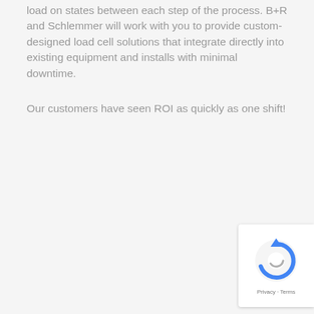load on states between each step of the process. B+R and Schlemmer will work with you to provide custom-designed load cell solutions that integrate directly into existing equipment and installs with minimal downtime.
Our customers have seen ROI as quickly as one shift!
[Figure (other): reCAPTCHA badge with spinning arrow icon and Privacy - Terms links]